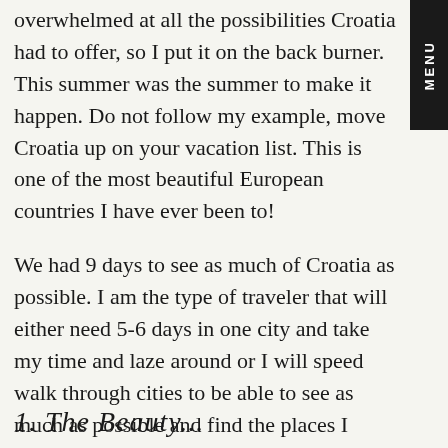overwhelmed at all the possibilities Croatia had to offer, so I put it on the back burner. This summer was the summer to make it happen. Do not follow my example, move Croatia up on your vacation list. This is one of the most beautiful European countries I have ever been to!
We had 9 days to see as much of Croatia as possible. I am the type of traveler that will either need 5-6 days in one city and take my time and laze around or I will speed walk through cities to be able to see as much as possible and find the places I want to return to. I get both types of travelers, believe me! If I had an infinite amount of vacation time, I would choose option 1.
So here are our top reasons you should put Croatia at the top of your European destination list.